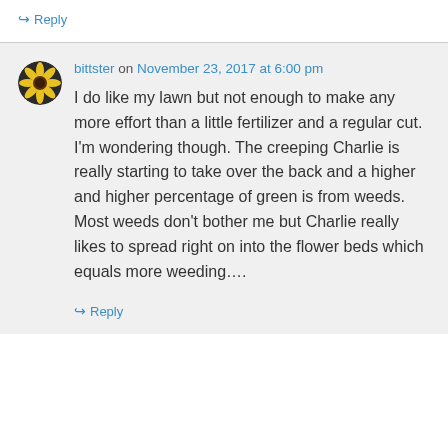↳ Reply
bittster on November 23, 2017 at 6:00 pm
I do like my lawn but not enough to make any more effort than a little fertilizer and a regular cut. I'm wondering though. The creeping Charlie is really starting to take over the back and a higher and higher percentage of green is from weeds. Most weeds don't bother me but Charlie really likes to spread right on into the flower beds which equals more weeding….
↳ Reply